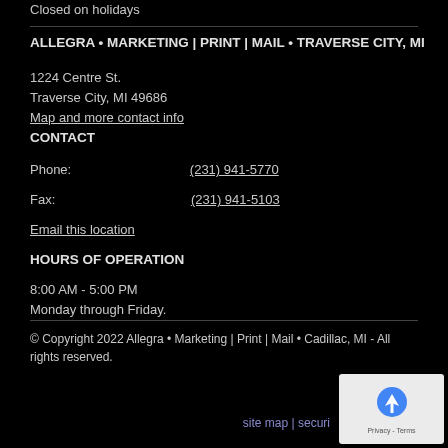Closed on holidays
ALLEGRA • MARKETING | PRINT | MAIL • TRAVERSE CITY, MI
1224 Centre St.
Traverse City, MI 49686
Map and more contact info
CONTACT
Phone: (231) 941-5770
Fax: (231) 941-5103
Email this location
HOURS OF OPERATION
8:00 AM - 5:00 PM
Monday through Friday.
© Copyright 2022 Allegra • Marketing | Print | Mail • Cadillac, MI - All rights reserved.
site map | securi...